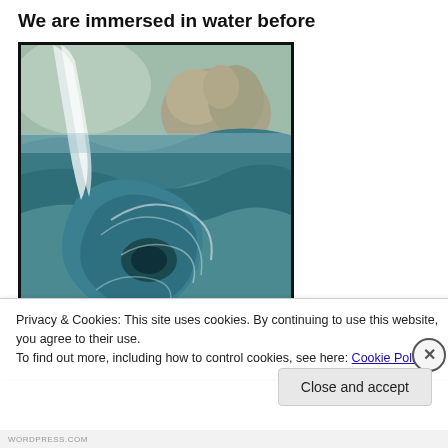We are immersed in water before
[Figure (illustration): Painting of a swirling ocean whirlpool with large waves and rocky cliffs in the background, rendered in teal and blue tones with warm earth tones for the rocks.]
Privacy & Cookies: This site uses cookies. By continuing to use this website, you agree to their use.
To find out more, including how to control cookies, see here: Cookie Policy
Close and accept